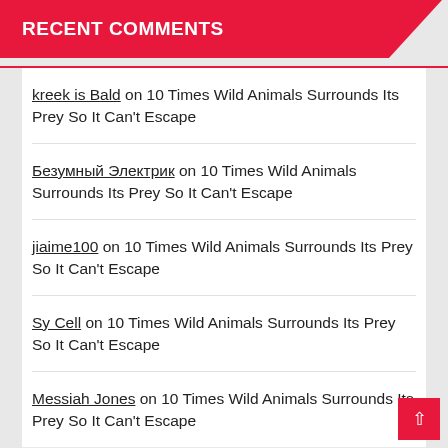RECENT COMMENTS
kreek is Bald on 10 Times Wild Animals Surrounds Its Prey So It Can't Escape
Безумный Электрик on 10 Times Wild Animals Surrounds Its Prey So It Can't Escape
jiaime100 on 10 Times Wild Animals Surrounds Its Prey So It Can't Escape
Sy Cell on 10 Times Wild Animals Surrounds Its Prey So It Can't Escape
Messiah Jones on 10 Times Wild Animals Surrounds Its Prey So It Can't Escape